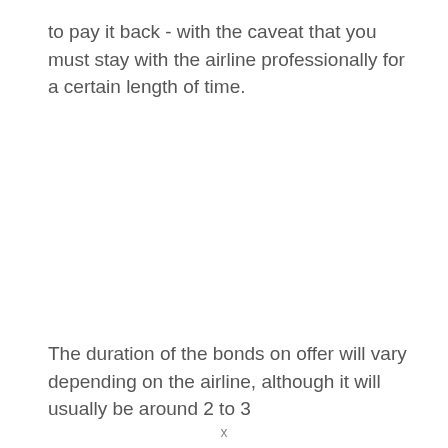to pay it back - with the caveat that you must stay with the airline professionally for a certain length of time.
The duration of the bonds on offer will vary depending on the airline, although it will usually be around 2 to 3
x